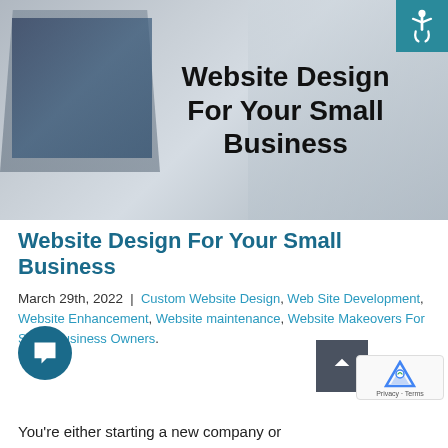[Figure (photo): Hero banner image showing office scene with computers, keyboard, plant on desk, and blurred people in background. Bold text overlay reads 'Website Design For Your Small Business'.]
Website Design For Your Small Business
March 29th, 2022  |  Custom Website Design, Web Site Development, Website Enhancement, Website maintenance, Website Makeovers For Small Business Owners.
You're either starting a new company or